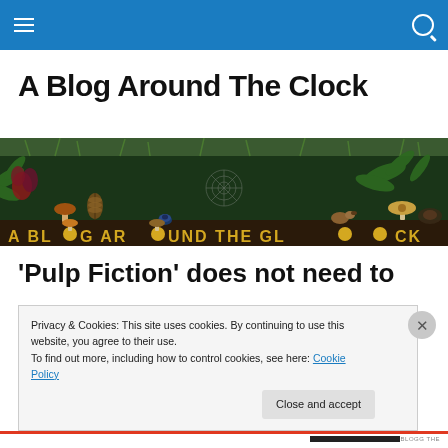Navigation bar with hamburger menu and search icon
A Blog Around The Clock
[Figure (illustration): Decorative nature-themed banner reading 'A BLOG AROUND THE CLOCK' with letters surrounded by mushrooms, plants, insects, and forest floor imagery on a dark green background]
‘Pulp Fiction’ does not need to
Privacy & Cookies: This site uses cookies. By continuing to use this website, you agree to their use.
To find out more, including how to control cookies, see here: Cookie Policy
Close and accept